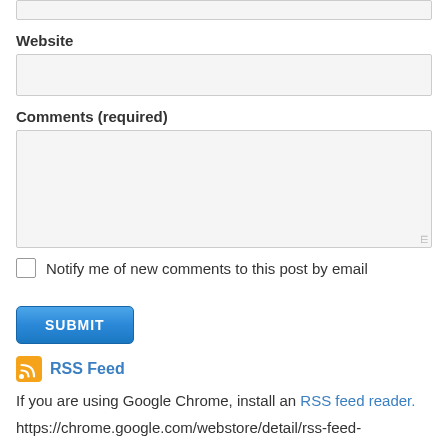Website
[Figure (screenshot): Empty text input field for Website]
Comments (required)
[Figure (screenshot): Empty textarea for Comments (required)]
Notify me of new comments to this post by email
[Figure (screenshot): SUBMIT button (blue)]
RSS Feed
If you are using Google Chrome, install an RSS feed reader.
https://chrome.google.com/webstore/detail/rss-feed-